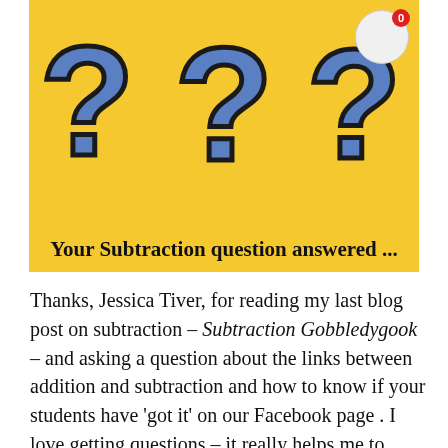[Figure (illustration): Yellow background illustration with three large blue and black question marks and bold text reading 'Your Subtraction question answered ...' with a notification badge showing 0 in the top right corner.]
Thanks, Jessica Tiver, for reading my last blog post on subtraction – Subtraction Gobbledygook – and asking a question about the links between addition and subtraction and how to know if your students have 'got it' on our Facebook page . I love getting questions – it really helps me to know what you're interested